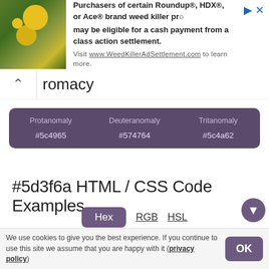[Figure (screenshot): Ad banner: photo of yellow flowers on green leaves, text about Roundup/HDX/Ace weed killer class action settlement, WeedKillerAdSettlement.com]
romacy
| Protanomaly | Deuteranomaly | Tritanomaly |
| --- | --- | --- |
| #5c4965 | #574764 | #5c4a62 |
#5d3f6a HTML / CSS Code Examples
Hex   RGB   HSL
#5d3f6a foreground
“ The artist's world is limitless. It can be found
We use cookies to give you the best experience. If you continue to use this site we assume that you are happy with it (privacy policy)